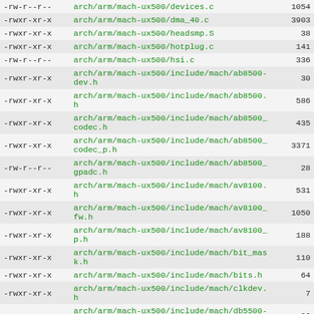| permissions | path | size |
| --- | --- | --- |
| -rw-r--r-- | arch/arm/mach-ux500/devices.c | 1054 |
| -rwxr-xr-x | arch/arm/mach-ux500/dma_40.c | 3903 |
| -rwxr-xr-x | arch/arm/mach-ux500/headsmp.S | 38 |
| -rwxr-xr-x | arch/arm/mach-ux500/hotplug.c | 141 |
| -rw-r--r-- | arch/arm/mach-ux500/hsi.c | 336 |
| -rwxr-xr-x | arch/arm/mach-ux500/include/mach/ab8500-dev.h | 30 |
| -rwxr-xr-x | arch/arm/mach-ux500/include/mach/ab8500.h | 586 |
| -rwxr-xr-x | arch/arm/mach-ux500/include/mach/ab8500_codec.h | 435 |
| -rwxr-xr-x | arch/arm/mach-ux500/include/mach/ab8500_codec_p.h | 3371 |
| -rw-r--r-- | arch/arm/mach-ux500/include/mach/ab8500_gpadc.h | 28 |
| -rwxr-xr-x | arch/arm/mach-ux500/include/mach/av8100.h | 531 |
| -rwxr-xr-x | arch/arm/mach-ux500/include/mach/av8100_fw.h | 1050 |
| -rwxr-xr-x | arch/arm/mach-ux500/include/mach/av8100_p.h | 188 |
| -rwxr-xr-x | arch/arm/mach-ux500/include/mach/bit_mask.h | 110 |
| -rwxr-xr-x | arch/arm/mach-ux500/include/mach/bits.h | 64 |
| -rwxr-xr-x | arch/arm/mach-ux500/include/mach/clkdev.h | 7 |
| -rw-r--r-- | arch/arm/mach-ux500/include/mach/db5500-regs.h | 96 |
| -rw-r--r-- | arch/arm/mach-ux500/include/mach/db8500- | 117 |